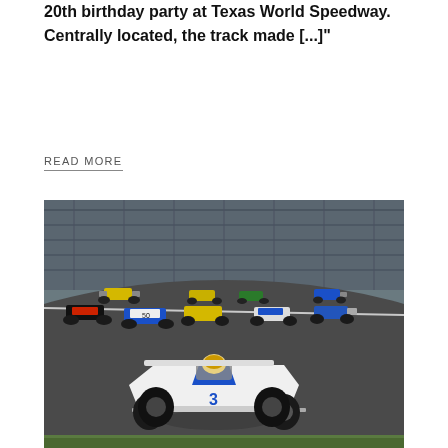20th birthday party at Texas World Speedway. Centrally located, the track made [...]
READ MORE
[Figure (photo): A group of open-wheel formula racing cars at the start of a race on a banked oval track. The lead car is white with blue trim numbered 3. Multiple colorful cars including yellow, red, green, and blue liveries are visible behind it. A grandstand structure is visible in the background.]